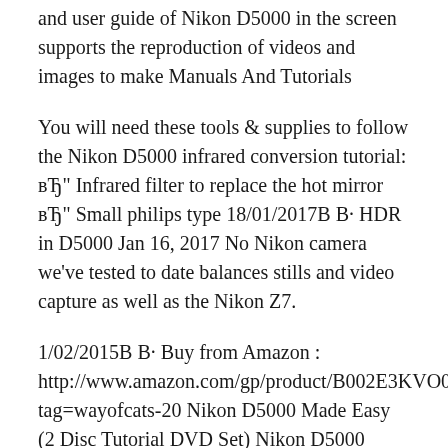and user guide of Nikon D5000 in the screen supports the reproduction of videos and images to make Manuals And Tutorials
You will need these tools & supplies to follow the Nikon D5000 infrared conversion tutorial: вЂ" Infrared filter to replace the hot mirror вЂ" Small philips type 18/01/2017В В· HDR in D5000 Jan 16, 2017 No Nikon camera we've tested to date balances stills and video capture as well as the Nikon Z7.
1/02/2015В В· Buy from Amazon : http://www.amazon.com/gp/product/B002E3KVO0 tag=wayofcats-20 Nikon D5000 Made Easy (2 Disc Tutorial DVD Set) Nikon D5000 Made Easy 2